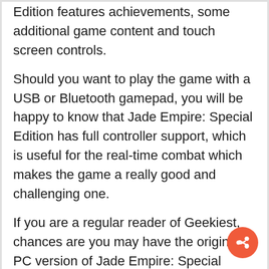Edition features achievements, some additional game content and touch screen controls.
Should you want to play the game with a USB or Bluetooth gamepad, you will be happy to know that Jade Empire: Special Edition has full controller support, which is useful for the real-time combat which makes the game a really good and challenging one.
If you are a regular reader of Geekiest, chances are you may have the original PC version of Jade Empire: Special Edition, on Electronic Arts' Origin, where it was given away for free last year.